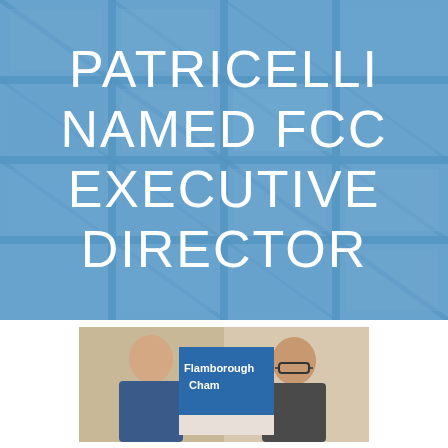[Figure (photo): Blue-tinted background photo of a glass skylight ceiling with geometric grid pattern, overlaid with blue semi-transparent overlay. White text reads: PATRICELLI NAMED FCC EXECUTIVE DIRECTOR]
PATRICELLI NAMED FCC EXECUTIVE DIRECTOR
[Figure (photo): Photograph of two men standing in front of a Flamborough Chamber of Commerce banner/sign. The sign is partially visible showing 'Flamborough' and 'Cham' (Chamber). One man is younger, one is older wearing glasses.]